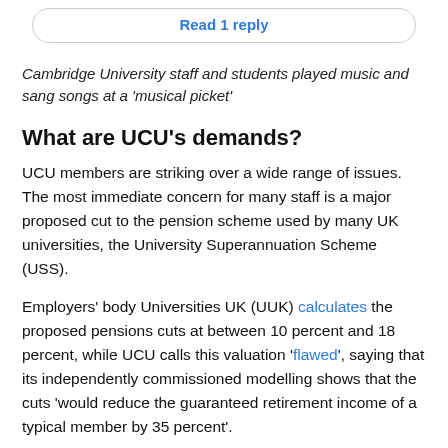[Figure (screenshot): Button with text 'Read 1 reply' in blue, rounded rectangle border]
Cambridge University staff and students played music and sang songs at a ‘musical picket’
What are UCU’s demands?
UCU members are striking over a wide range of issues. The most immediate concern for many staff is a major proposed cut to the pension scheme used by many UK universities, the University Superannuation Scheme (USS).
Employers’ body Universities UK (UUK) calculates the proposed pensions cuts at between 10 percent and 18 percent, while UCU calls this valuation ‘flawed’, saying that its independently commissioned modelling shows that the cuts ‘would reduce the guaranteed retirement income of a typical member by 35 percent’.